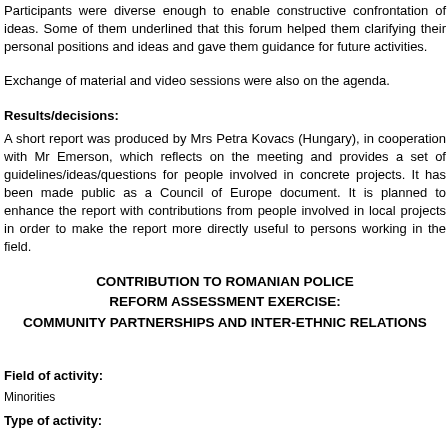Participants were diverse enough to enable constructive confrontation of ideas. Some of them underlined that this forum helped them clarifying their personal positions and ideas and gave them guidance for future activities.
Exchange of material and video sessions were also on the agenda.
Results/decisions:
A short report was produced by Mrs Petra Kovacs (Hungary), in cooperation with Mr Emerson, which reflects on the meeting and provides a set of guidelines/ideas/questions for people involved in concrete projects. It has been made public as a Council of Europe document. It is planned to enhance the report with contributions from people involved in local projects in order to make the report more directly useful to persons working in the field.
CONTRIBUTION TO ROMANIAN POLICE REFORM ASSESSMENT EXERCISE: COMMUNITY PARTNERSHIPS AND INTER-ETHNIC RELATIONS
Field of activity:
Minorities
Type of activity: